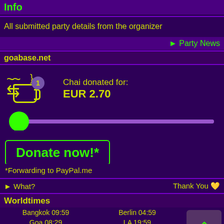Info
All submitted party details from the organizer
▶ Party News
goabase.net
Chai donated for: EUR 2.70
[Figure (other): Donation slider with green circle thumb at start position]
Donate now!*
*Forwarding to PayPal.me
▶ What?    Thank You 💛
Worldtimes
| Bangkok 09:59 | Berlin 04:59 |
| Goa 08:29 | LA 19:59 |
| London 03:59 | NYC 22:59 |
| Rio 23:59 | Sydney 12:59 |